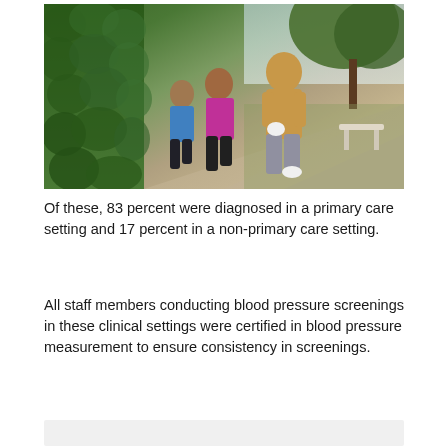[Figure (photo): Three women jogging/walking together along a tree-lined path outdoors. The woman in front is wearing a yellow top and grey pants, the middle woman wears a magenta top, and the woman behind wears a blue top. There is a green hedge on the left side of the path.]
Of these, 83 percent were diagnosed in a primary care setting and 17 percent in a non-primary care setting.
All staff members conducting blood pressure screenings in these clinical settings were certified in blood pressure measurement to ensure consistency in screenings.
[Figure (other): Light grey/white partially visible box at the bottom of the page]